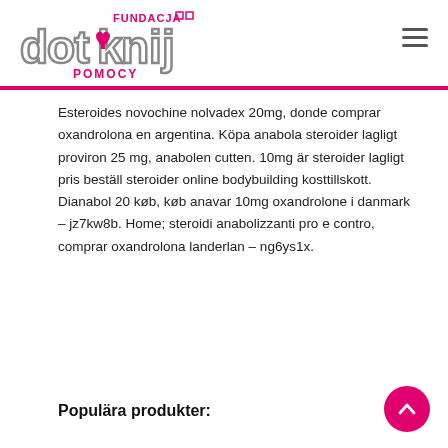[Figure (logo): Fundacja Dotknij Pomocy logo — stylized 'dotknij' text with a pink heart hand icon and 'FUNDACJA' / 'POMOCY' text]
Esteroides novochine nolvadex 20mg, donde comprar oxandrolona en argentina. Köpa anabola steroider lagligt proviron 25 mg, anabolen cutten. 10mg är steroider lagligt pris beställ steroider online bodybuilding kosttillskott. Dianabol 20 køb, køb anavar 10mg oxandrolone i danmark – jz7kw8b. Home; steroidi anabolizzanti pro e contro, comprar oxandrolona landerlan – ng6ys1x.
Populära produkter: